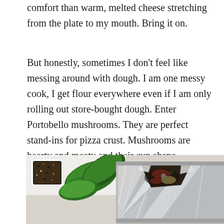comfort than warm, melted cheese stretching from the plate to my mouth. Bring it on.
But honestly, sometimes I don't feel like messing around with dough. I am one messy cook, I get flour everywhere even if I am only rolling out store-bought dough. Enter Portobello mushrooms. They are perfect stand-ins for pizza crust. Mushrooms are hearty and meaty and their cup shape perfectly holds sauce, cheese, and any toppings that you enjoy.
[Figure (photo): A photo showing a foil-wrapped food item (likely portobello mushroom pizza) in a baking tray, with fresh basil leaves and a small white dish of spices/seasonings visible on the left.]